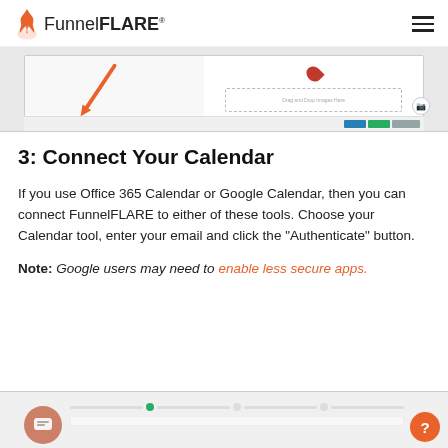FunnelFLARE
[Figure (screenshot): Partial screenshot of FunnelFLARE web application interface showing a drag-and-drop image area with a red diagonal arrow and upload button]
3: Connect Your Calendar
If you use Office 365 Calendar or Google Calendar, then you can connect FunnelFLARE to either of these tools. Choose your Calendar tool, enter your email and click the "Authenticate" button.
Note: Google users may need to enable less secure apps.
[Figure (screenshot): Partial screenshot of FunnelFLARE setup wizard showing calendar connection step with progress steps at bottom]